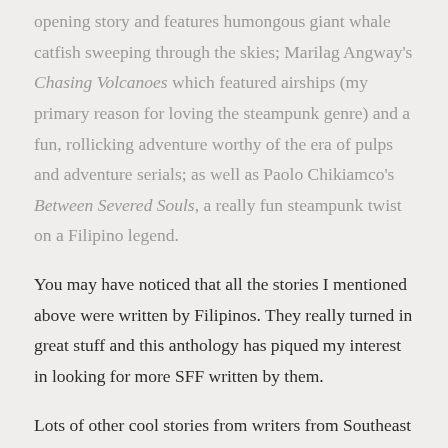opening story and features humongous giant whale catfish sweeping through the skies; Marilag Angway's Chasing Volcanoes which featured airships (my primary reason for loving the steampunk genre) and a fun, rollicking adventure worthy of the era of pulps and adventure serials; as well as Paolo Chikiamco's Between Severed Souls, a really fun steampunk twist on a Filipino legend.
You may have noticed that all the stories I mentioned above were written by Filipinos. They really turned in great stuff and this anthology has piqued my interest in looking for more SFF written by them.
Lots of other cool stories from writers from Southeast Asian countries worthy of your attention as well such as Olivia Ho's Working Woman and ZM Quynh's Chamber of Souls. All in all